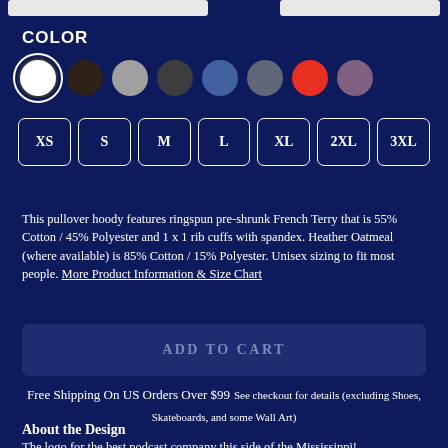COLOR
[Figure (other): Color swatches: white (selected), dark brown, light gray, dark gray, blue, medium gray, red, purple]
[Figure (other): Size selector buttons: XS, S, M, L, XL, 2XL, 3XL]
This pullover hoody features ringspun pre-shrunk French Terry that is 55% Cotton / 45% Polyester and 1 x 1 rib cuffs with spandex. Heather Oatmeal (where available) is 85% Cotton / 15% Polyester. Unisex sizing to fit most people. More Product Information & Size Chart
ADD TO CART
Free Shipping On US Orders Over $99 See checkout for details (excluding Shoes, Skateboards, and some Wall Art)
About the Design
The logo for the best podcast company this side of the Mississippi!